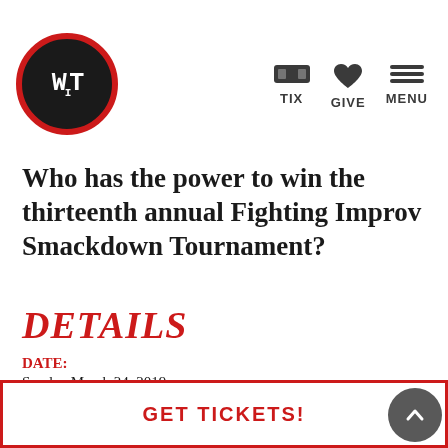[Figure (logo): WIT logo: black circle with red border, white text WIT in bold monospace]
TIX   GIVE   MENU
Who has the power to win the thirteenth annual Fighting Improv Smackdown Tournament?
DETAILS
DATE:
Sunday March 24, 2019
TIME:
6...
GET TICKETS!